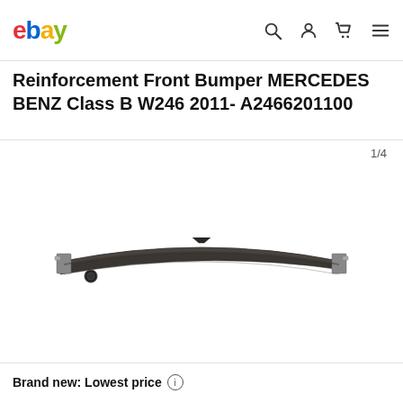ebay
Reinforcement Front Bumper MERCEDES BENZ Class B W246 2011- A2466201100
1/4
[Figure (photo): A dark grey/black front bumper reinforcement bar for Mercedes Benz Class B W246, shown horizontally on white background. The part is a long curved metal beam with mounting brackets at each end and a small circular fitting on the left side.]
Brand new: Lowest price